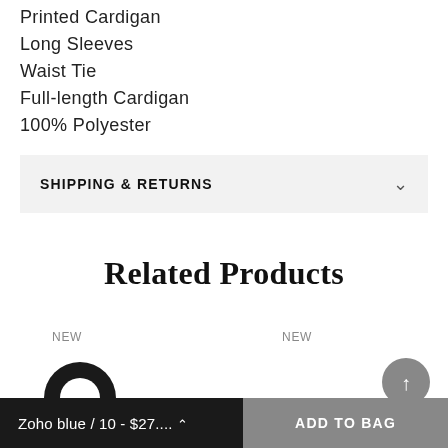Printed Cardigan
Long Sleeves
Waist Tie
Full-length Cardigan
100% Polyester
SHIPPING & RETURNS
Related Products
NEW
NEW
Zoho blue / 10 - $27.... ^    ADD TO BAG